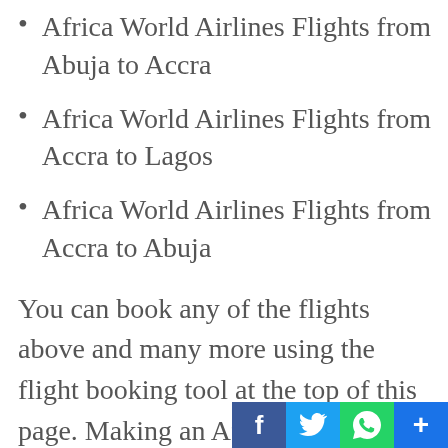Africa World Airlines Flights from Abuja to Accra
Africa World Airlines Flights from Accra to Lagos
Africa World Airlines Flights from Accra to Abuja
You can book any of the flights above and many more using the flight booking tool at the top of this page. Making an Africa World Airlines booking online, just got a whole lot more convenient.